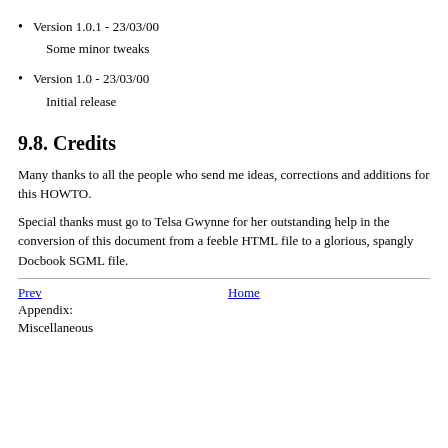Version 1.0.1 - 23/03/00
Some minor tweaks
Version 1.0 - 23/03/00
Initial release
9.8. Credits
Many thanks to all the people who send me ideas, corrections and additions for this HOWTO.
Special thanks must go to Telsa Gwynne for her outstanding help in the conversion of this document from a feeble HTML file to a glorious, spangly Docbook SGML file.
Prev  Home
Appendix: Miscellaneous